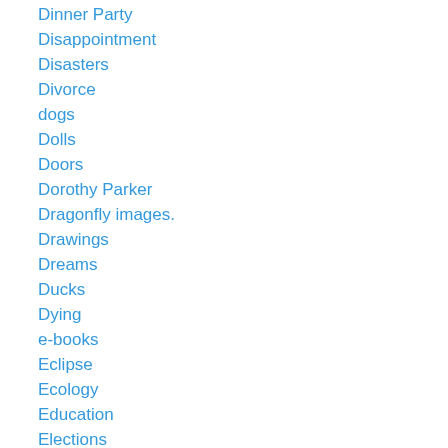Dinner Party
Disappointment
Disasters
Divorce
dogs
Dolls
Doors
Dorothy Parker
Dragonfly images.
Drawings
Dreams
Ducks
Dying
e-books
Eclipse
Ecology
Education
Elections
Elegy